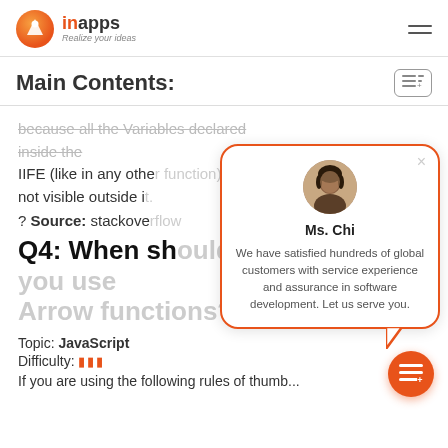[Figure (logo): InApps logo with orange circle icon and text 'inApps Realize your ideas']
Main Contents:
because all the Variables declared inside the IIFE (like in any other function) are not visible outside it.
? Source: stackoverflow
Q4: When should you use Arrow functions?
Topic: JavaScript
Difficulty: ■■■
If you are using the following rules of thumb...
[Figure (infographic): Chat popup with avatar of Ms. Chi and message: 'We have satisfied hundreds of global customers with service experience and assurance in software development. Let us serve you.']